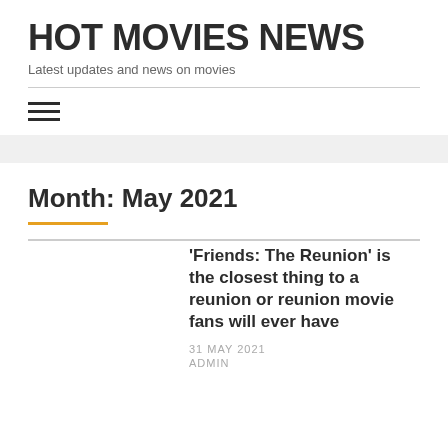HOT MOVIES NEWS
Latest updates and news on movies
Month: May 2021
'Friends: The Reunion' is the closest thing to a reunion or reunion movie fans will ever have
31 MAY 2021
ADMIN